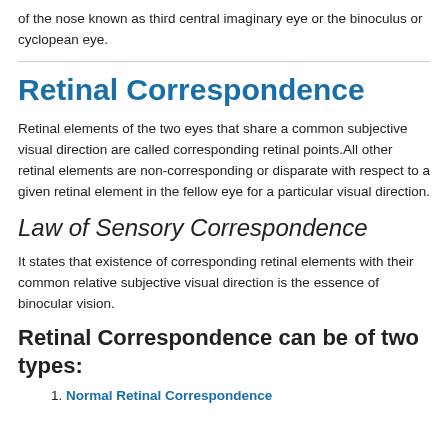of the nose known as third central imaginary eye or the binoculus or cyclopean eye.
Retinal Correspondence
Retinal elements of the two eyes that share a common subjective visual direction are called corresponding retinal points.All other retinal elements are non-corresponding or disparate with respect to a given retinal element in the fellow eye for a particular visual direction.
Law of Sensory Correspondence
It states that existence of corresponding retinal elements with their common relative subjective visual direction is the essence of binocular vision.
Retinal Correspondence can be of two types:
Normal Retinal Correspondence